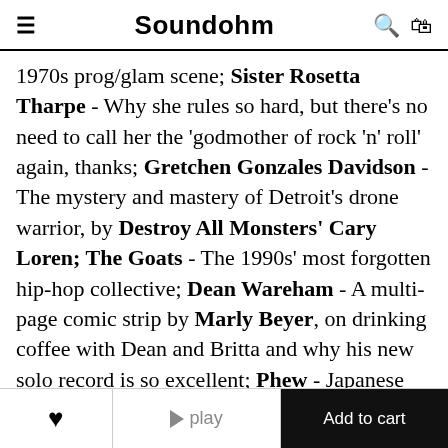Soundohm
1970s prog/glam scene; Sister Rosetta Tharpe - Why she rules so hard, but there's no need to call her the 'godmother of rock 'n' roll' again, thanks; Gretchen Gonzales Davidson - The mystery and mastery of Detroit's drone warrior, by Destroy All Monsters' Cary Loren; The Goats - The 1990s' most forgotten hip-hop collective; Dean Wareham - A multi-page comic strip by Marly Beyer, on drinking coffee with Dean and Britta and why his new solo record is so excellent; Phew - Japanese experimental artist gets the Andy Beta treatment; 'Orchestre Tout Pouissant Marcel Duchamp' by the great Sara Jaffe; Plus also work
❤  ▶ play  Add to cart